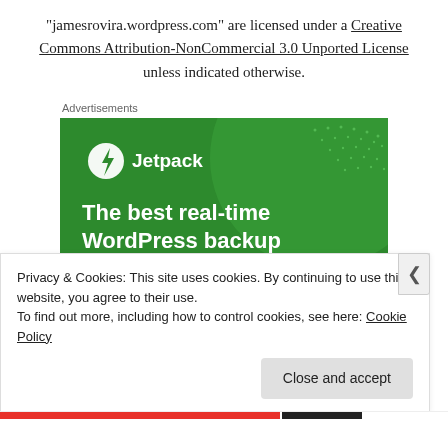“jamesrovira.wordpress.com” are licensed under a Creative Commons Attribution-NonCommercial 3.0 Unported License unless indicated otherwise.
Advertisements
[Figure (illustration): Jetpack advertisement banner on a green background. Shows the Jetpack logo (lightning bolt in circle) and text: 'The best real-time WordPress backup plugin']
Privacy & Cookies: This site uses cookies. By continuing to use this website, you agree to their use.
To find out more, including how to control cookies, see here: Cookie Policy
Close and accept